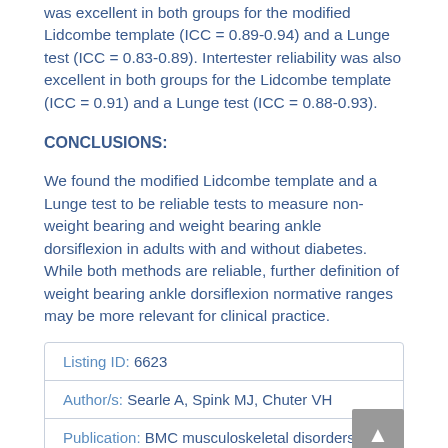was excellent in both groups for the modified Lidcombe template (ICC = 0.89-0.94) and a Lunge test (ICC = 0.83-0.89). Intertester reliability was also excellent in both groups for the Lidcombe template (ICC = 0.91) and a Lunge test (ICC = 0.88-0.93).
CONCLUSIONS:
We found the modified Lidcombe template and a Lunge test to be reliable tests to measure non-weight bearing and weight bearing ankle dorsiflexion in adults with and without diabetes. While both methods are reliable, further definition of weight bearing ankle dorsiflexion normative ranges may be more relevant for clinical practice.
| Field | Value |
| --- | --- |
| Listing ID: | 6623 |
| Author/s: | Searle A, Spink MJ, Chuter VH |
| Publication: | BMC musculoskeletal disorders |